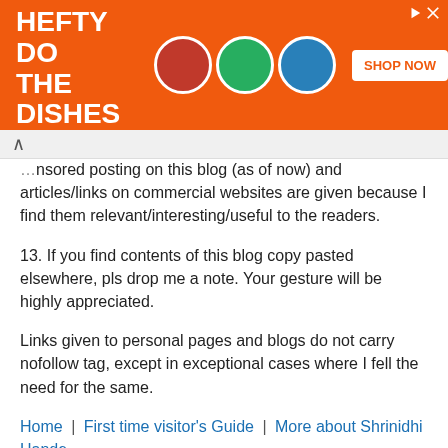[Figure (illustration): Advertisement banner: orange background with 'LET HEFTY DO THE DISHES' text, product circles, and SHOP NOW button. Copyright 2022 Reynolds Consumer Products LLC.]
...nsored posting on this blog (as of now) and articles/links on commercial websites are given because I find them relevant/interesting/useful to the readers.
13. If you find contents of this blog copy pasted elsewhere, pls drop me a note. Your gesture will be highly appreciated.
Links given to personal pages and blogs do not carry nofollow tag, except in exceptional cases where I fell the need for the same.
Home | First time visitor's Guide | More about Shrinidhi Hande